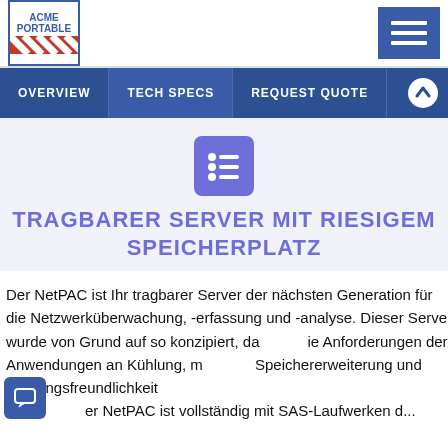ACME PORTABLE
OVERVIEW  TECH SPECS  REQUEST QUOTE
[Figure (illustration): List/bullet icon in purple rounded square]
TRAGBARER SERVER MIT RIESIGEM SPEICHERPLATZ
Der NetPAC ist Ihr tragbarer Server der nächsten Generation für die Netzwerküberwachung, -erfassung und -analyse. Dieser Server wurde von Grund auf so konzipiert, dass die Anforderungen der Anwendungen an Kühlung, minimale Speichererweiterung und Wartungsfreundlichkeit ... Der NetPAC ist vollständig mit SAS-Laufwerken d...